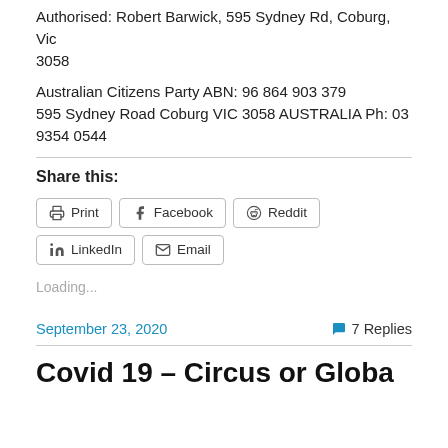Authorised: Robert Barwick, 595 Sydney Rd, Coburg, Vic 3058
Australian Citizens Party ABN: 96 864 903 379
595 Sydney Road Coburg VIC 3058 AUSTRALIA Ph: 03 9354 0544
Share this:
Print | Facebook | Reddit | LinkedIn | Email
Loading...
September 23, 2020
7 Replies
Covid 19 – Circus or Global